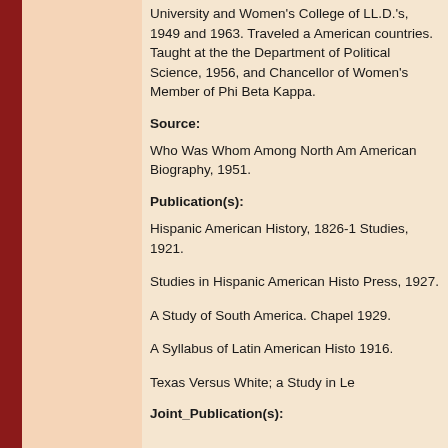University and Women's College of LL.D.'s, 1949 and 1963. Traveled a American countries. Taught at the the Department of Political Science, 1956, and Chancellor of Women's Member of Phi Beta Kappa.
Source:
Who Was Whom Among North Am American Biography, 1951.
Publication(s):
Hispanic American History, 1826-1 Studies, 1921.
Studies in Hispanic American Histo Press, 1927.
A Study of South America. Chapel 1929.
A Syllabus of Latin American Histo 1916.
Texas Versus White; a Study in Le
Joint_Publication(s):